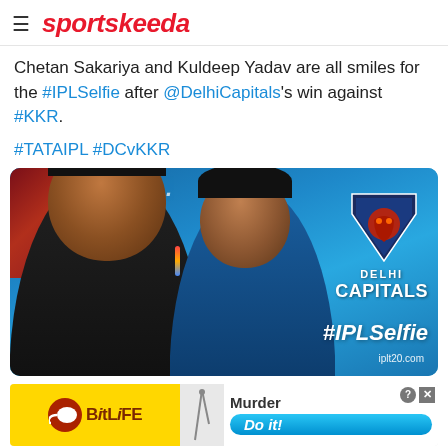sportskeeda
Chetan Sakariya and Kuldeep Yadav are all smiles for the #IPLSelfie after @DelhiCapitals's win against #KKR.
#TATAIPL #DCvKKR
[Figure (photo): Chetan Sakariya and Kuldeep Yadav taking a selfie in front of Delhi Capitals branding and logo, with #IPLSelfie and iplt20.com text visible]
[Figure (infographic): BitLife advertisement banner showing Murder / Do it! promotion]